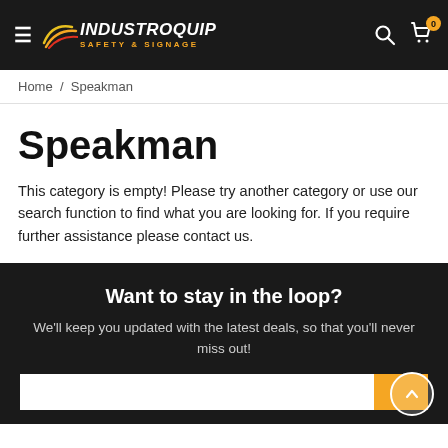INDUSTROQUIP SAFETY & SIGNAGE — navigation header with hamburger menu, logo, search icon, and cart (0)
Home / Speakman
Speakman
This category is empty! Please try another category or use our search function to find what you are looking for. If you require further assistance please contact us.
Want to stay in the loop?
We'll keep you updated with the latest deals, so that you'll never miss out!